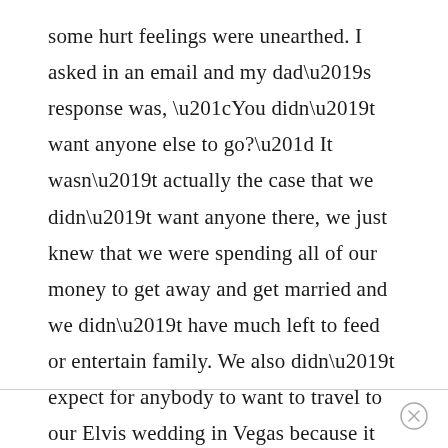some hurt feelings were unearthed. I asked in an email and my dad’s response was, “You didn’t want anyone else to go?” It wasn’t actually the case that we didn’t want anyone there, we just knew that we were spending all of our money to get away and get married and we didn’t have much left to feed or entertain family. We also didn’t expect for anybody to want to travel to our Elvis wedding in Vegas because it didn’t seem significant enough, if that makes sense.